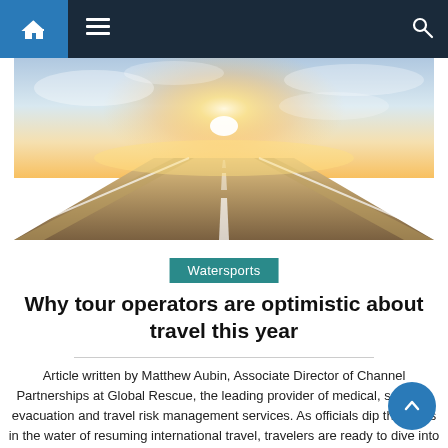Navigation bar with home, menu, and search icons
[Figure (photo): A highway road receding toward a bright sunrise on the horizon, motion blur effect, dramatic sky with clouds.]
Watersports
Why tour operators are optimistic about travel this year
Article written by Matthew Aubin, Associate Director of Channel Partnerships at Global Rescue, the leading provider of medical, security, evacuation and travel risk management services. As officials dip their toes in the water of resuming international travel, travelers are ready to dive into depths of travel after a two-year hiatus. THE ADVERTISEMENT The proof [...]